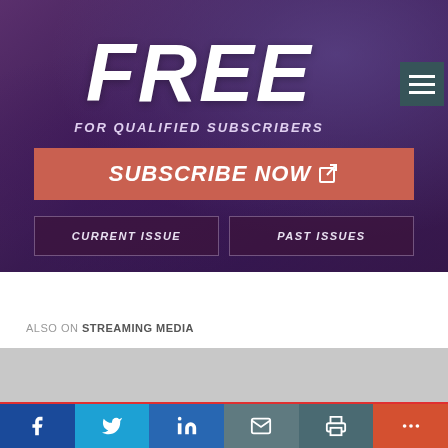[Figure (screenshot): Magazine subscription banner with purple background showing FREE in large italic white text, FOR QUALIFIED SUBSCRIBERS subtitle, a red SUBSCRIBE NOW button, and CURRENT ISSUE / PAST ISSUES buttons. Top-right has a hamburger menu icon.]
ALSO ON STREAMING MEDIA
[Figure (other): Gray placeholder content area below the also-on label]
[Figure (other): Social share bar with Facebook, Twitter, LinkedIn, Email, Print, and More (+) buttons]